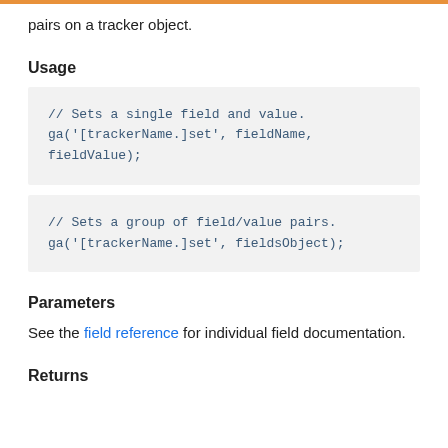pairs on a tracker object.
Usage
// Sets a single field and value.
ga('[trackerName.]set', fieldName, fieldValue);
// Sets a group of field/value pairs.
ga('[trackerName.]set', fieldsObject);
Parameters
See the field reference for individual field documentation.
Returns